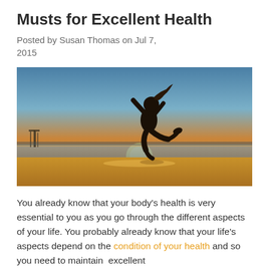Musts for Excellent Health
Posted by Susan Thomas on Jul 7, 2015
[Figure (photo): Silhouette of a person jumping joyfully on a beach at sunset with golden sky, ocean and pier in background]
You already know that your body's health is very essential to you as you go through the different aspects of your life. You probably already know that your life's aspects depend on the condition of your health and so you need to maintain  excellent health. As you go through the d…